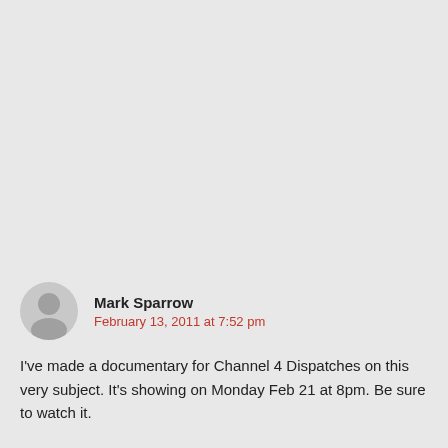Mark Sparrow
February 13, 2011 at 7:52 pm
I've made a documentary for Channel 4 Dispatches on this very subject. It's showing on Monday Feb 21 at 8pm. Be sure to watch it.